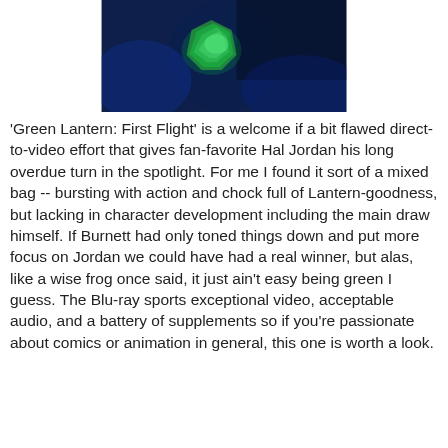[Figure (screenshot): Animated scene from Green Lantern: First Flight showing green and teal colored character or armor against a dark blue background]
'Green Lantern: First Flight' is a welcome if a bit flawed direct-to-video effort that gives fan-favorite Hal Jordan his long overdue turn in the spotlight. For me I found it sort of a mixed bag -- bursting with action and chock full of Lantern-goodness, but lacking in character development including the main draw himself. If Burnett had only toned things down and put more focus on Jordan we could have had a real winner, but alas, like a wise frog once said, it just ain't easy being green I guess. The Blu-ray sports exceptional video, acceptable audio, and a battery of supplements so if you're passionate about comics or animation in general, this one is worth a look.